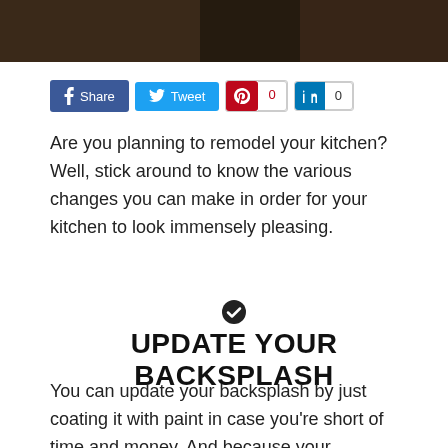[Figure (photo): Dark brown kitchen photo strip at top of page]
[Figure (infographic): Social share buttons: Facebook Share, Twitter Tweet, Pinterest with count 0, LinkedIn with count 0]
Are you planning to remodel your kitchen? Well, stick around to know the various changes you can make in order for your kitchen to look immensely pleasing.
UPDATE YOUR BACKSPLASH
You can update your backsplash by just coating it with paint in case you’re short of time and money. And because your backsplash needs more than just color, you need to select the right quality material in accordance with your